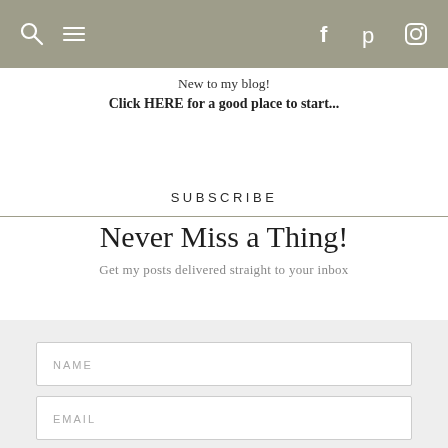Navigation bar with search, menu, Facebook, Pinterest, Instagram icons
New to my blog!
Click HERE for a good place to start...
SUBSCRIBE
Never Miss a Thing!
Get my posts delivered straight to your inbox
NAME
EMAIL
SUBSCRIBE!